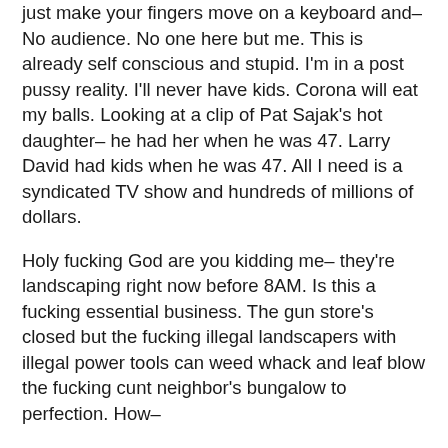just make your fingers move on a keyboard and– No audience. No one here but me. This is already self conscious and stupid. I'm in a post pussy reality. I'll never have kids. Corona will eat my balls. Looking at a clip of Pat Sajak's hot daughter– he had her when he was 47. Larry David had kids when he was 47. All I need is a syndicated TV show and hundreds of millions of dollars.
Holy fucking God are you kidding me– they're landscaping right now before 8AM. Is this a fucking essential business. The gun store's closed but the fucking illegal landscapers with illegal power tools can weed whack and leaf blow the fucking cunt neighbor's bungalow to perfection. How–
Glad I don't have the gun because I might go over there and blow the guy into ground chuck blood and bone chips. Every business has to close but the fucking landscapers out there 12 hours a day. Always the house near me that